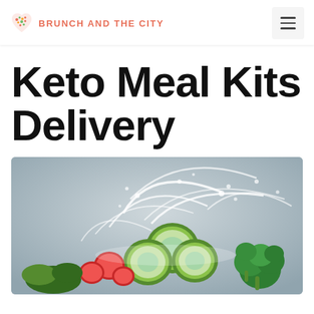BRUNCH AND THE CITY
Keto Meal Kits Delivery
[Figure (photo): Fresh vegetables including sliced cucumbers, tomatoes, and broccoli with a dramatic water splash against a light blue-grey background, suggesting freshness and keto-friendly produce.]